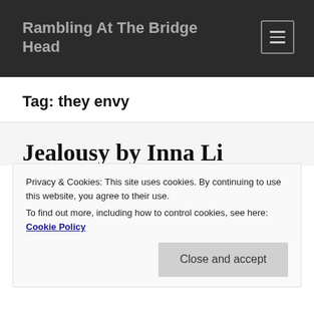Rambling At The Bridge Head
Tag: they envy
Jealousy by Inna Lisnianskaya
Privacy & Cookies: This site uses cookies. By continuing to use this website, you agree to their use.
To find out more, including how to control cookies, see here: Cookie Policy
Close and accept